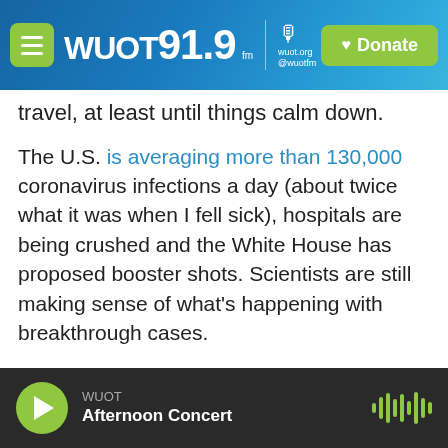WUOT 91.9 FM | Donate
travel, at least until things calm down.
The U.S. is averaging more than 130,000 coronavirus infections a day (about twice what it was when I fell sick), hospitals are being crushed and the White House has proposed booster shots. Scientists are still making sense of what's happening with breakthrough cases.
What's clear is that in many parts of the U.S., we're all more likely to run into the virus than we were in the spring. "Your risk is going to be different if you are in a place that's very highly vaccinated, with very low level of community spread," says Preeti
WUOT Afternoon Concert